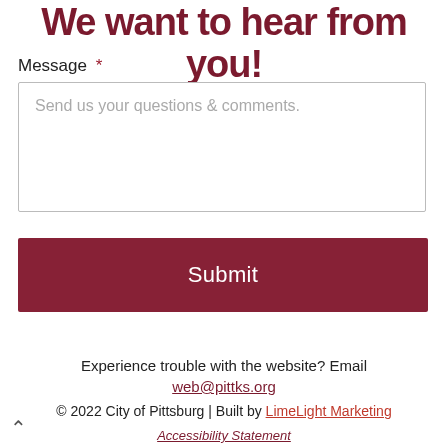We want to hear from you!
Message *
Send us your questions & comments.
Submit
Experience trouble with the website? Email web@pittks.org
© 2022 City of Pittsburg | Built by LimeLight Marketing
Accessibility Statement